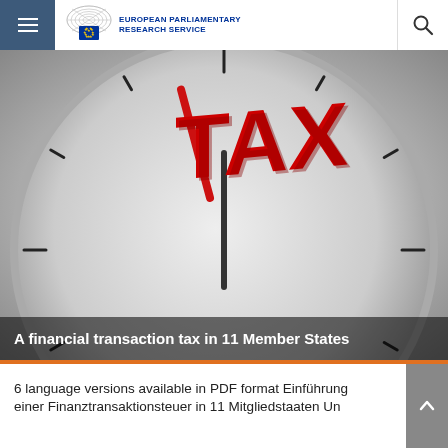European Parliamentary Research Service
[Figure (photo): Close-up of a clock face with large red 3D letters spelling TAX and a red clock hand, on a grey gradient background]
A financial transaction tax in 11 Member States
6 language versions available in PDF format Einführung einer Finanztransaktionsteuer in 11 Mitgliedstaaten Un